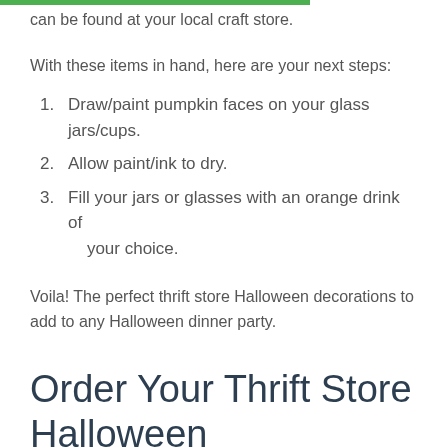can be found at your local craft store.
With these items in hand, here are your next steps:
1. Draw/paint pumpkin faces on your glass jars/cups.
2. Allow paint/ink to dry.
3. Fill your jars or glasses with an orange drink of your choice.
Voila! The perfect thrift store Halloween decorations to add to any Halloween dinner party.
Order Your Thrift Store Halloween Decorations Supplies Online
With Goodwill Alberta's new online thrift store, you can order all the DIY Halloween decor supplies you'll need before you visit your local store! Check out our online thrift shop to see